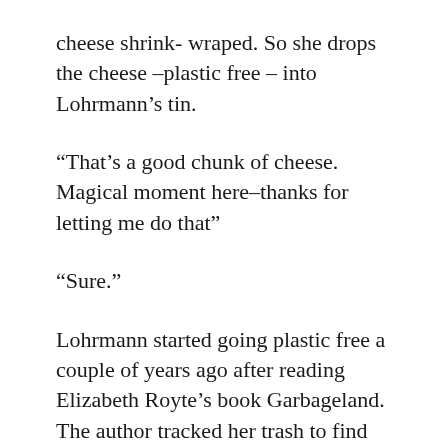cheese shrink- wraped. So she drops the cheese –plastic free – into Lohrmann's tin.
“That’s a good chunk of cheese. Magical moment here–thanks for letting me do that”
“Sure.”
Lohrmann started going plastic free a couple of years ago after reading Elizabeth Royte’s book Garbageland. The author tracked her trash to find out where it ended up. The chapter on plastic struck a nerve with Lohrmann.
“I think it’s been taken too far when you have toothpicks individually wrapped in plastic. You